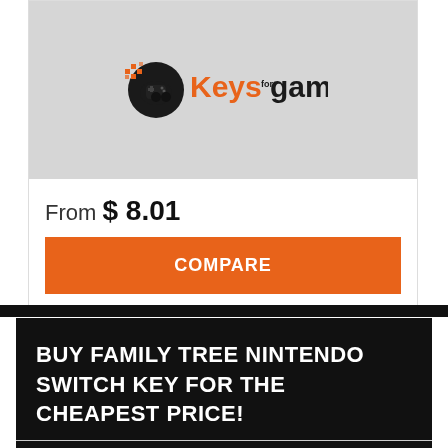[Figure (logo): Keys for Games logo — orange and black globe/controller icon with 'Keys' in orange, 'for' small stacked text, 'games' in black, on a light gray background]
From $ 8.01
COMPARE
BUY FAMILY TREE NINTENDO SWITCH KEY FOR THE CHEAPEST PRICE!